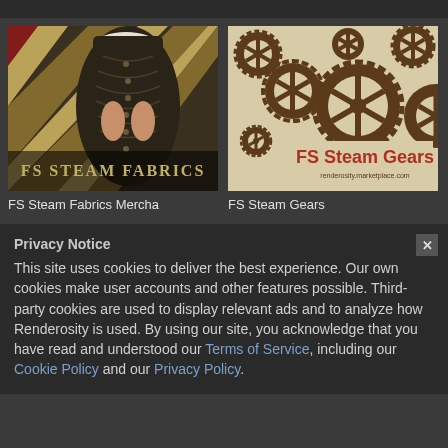[Figure (illustration): FS Steam Fabrics Mercha product thumbnail - steampunk corset with striped background, text overlay 'FS STEAM FABRICS']
[Figure (illustration): FS Steam Gears product thumbnail - various brown steampunk gears on beige background with text 'FS Steam Gears']
FS Steam Fabrics Mercha
FS Steam Gears
Privacy Notice
This site uses cookies to deliver the best experience. Our own cookies make user accounts and other features possible. Third-party cookies are used to display relevant ads and to analyze how Renderosity is used. By using our site, you acknowledge that you have read and understood our Terms of Service, including our Cookie Policy and our Privacy Policy.